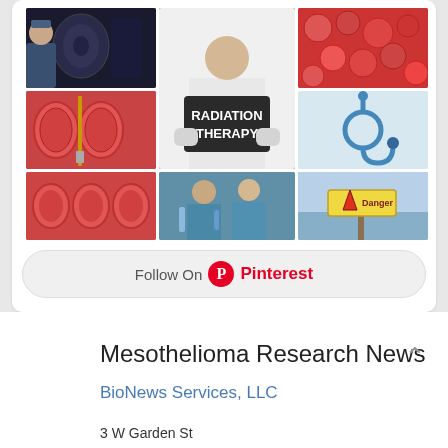[Figure (photo): Pinterest widget showing a grid of medical/cancer research photos including X-ray reading, radiation therapy sign, blood cells, petri dishes, stethoscope, lab workers, and a danger sign, with a Follow On Pinterest button]
Mesothelioma Research News
BioNews Services, LLC
3 W Garden St
Suite 700